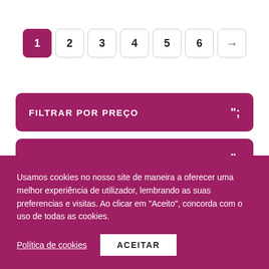Pagination: 1 (active), 2, 3, 4, 5, 6, →
FILTRAR POR PREÇO
FILTRAR POR IDADE
Usamos cookies no nosso site de maneira a oferecer uma melhor experiência de utilizador, lembrando as suas preferencias e visitas. Ao clicar em "Aceito", concorda com o uso de todas as cookies.
Política de cookies
ACEITAR